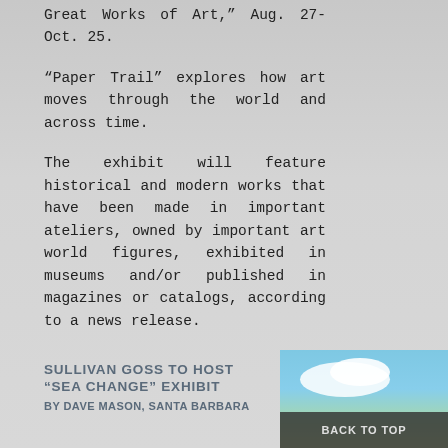Great Works of Art," Aug. 27-Oct. 25.
“Paper Trail” explores how art moves through the world and across time.
The exhibit will feature historical and modern works that have been made in important ateliers, owned by important art world figures, exhibited in museums and/or published in magazines or catalogs, according to a news release.
SULLIVAN GOSS TO HOST "SEA CHANGE" EXHIBIT
BY DAVE MASON, SANTA BARBARA
[Figure (photo): Outdoor photo showing white clouds against a blue sky with green landscape below]
BACK TO TOP